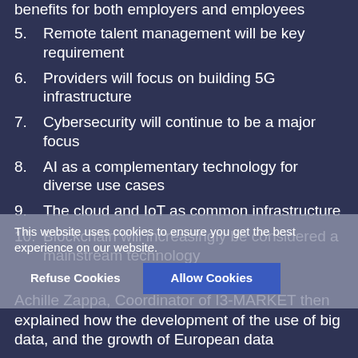benefits for both employers and employees
5. Remote talent management will be key requirement
6. Providers will focus on building 5G infrastructure
7. Cybersecurity will continue to be a major focus
8. AI as a complementary technology for diverse use cases
9. The cloud and IoT as common infrastructure
10. Blockchain will increasingly be considered a mainstream technology
Achille Zappa, Coordinator of I3-MARKET then explained how the development of the use of big data, and the growth of European data